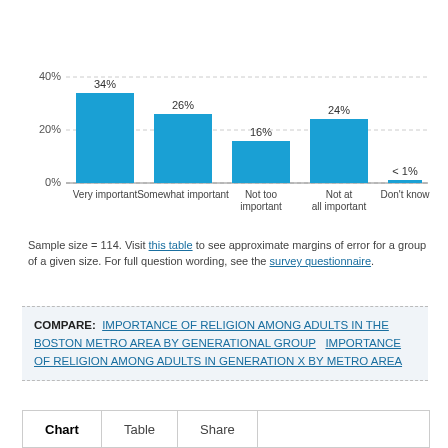[Figure (bar-chart): ]
Sample size = 114. Visit this table to see approximate margins of error for a group of a given size. For full question wording, see the survey questionnaire.
COMPARE: IMPORTANCE OF RELIGION AMONG ADULTS IN THE BOSTON METRO AREA BY GENERATIONAL GROUP   IMPORTANCE OF RELIGION AMONG ADULTS IN GENERATION X BY METRO AREA
Chart   Table   Share